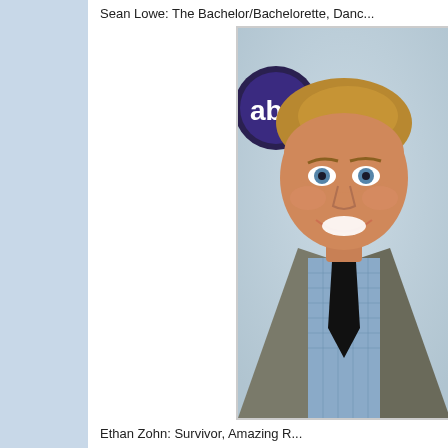Sean Lowe: The Bachelor/Bachelorette, Danc...
[Figure (photo): Sean Lowe smiling in front of ABC logo, wearing a gray suit with blue gingham shirt and black tie]
Ethan Zohn: Survivor, Amazing R...
[Figure (photo): Partial photo of Ethan Zohn, partially visible at bottom of page]